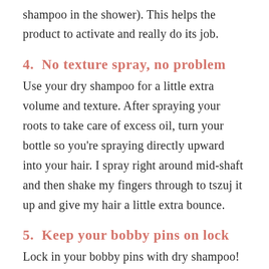shampoo in the shower). This helps the product to activate and really do its job.
4.  No texture spray, no problem
Use your dry shampoo for a little extra volume and texture. After spraying your roots to take care of excess oil, turn your bottle so you're spraying directly upward into your hair. I spray right around mid-shaft and then shake my fingers through to tszuj it up and give my hair a little extra bounce.
5.  Keep your bobby pins on lock
Lock in your bobby pins with dry shampoo!